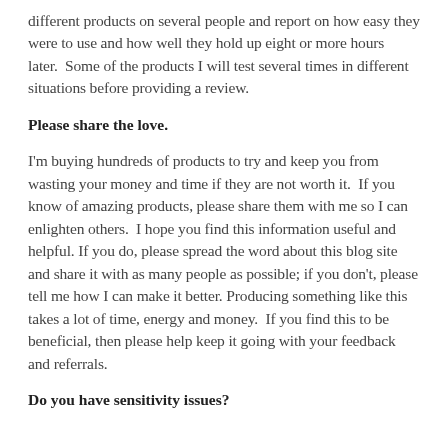different products on several people and report on how easy they were to use and how well they hold up eight or more hours later.  Some of the products I will test several times in different situations before providing a review.
Please share the love.
I'm buying hundreds of products to try and keep you from wasting your money and time if they are not worth it.  If you know of amazing products, please share them with me so I can enlighten others.  I hope you find this information useful and helpful. If you do, please spread the word about this blog site and share it with as many people as possible; if you don't, please tell me how I can make it better. Producing something like this takes a lot of time, energy and money.  If you find this to be beneficial, then please help keep it going with your feedback and referrals.
Do you have sensitivity issues?